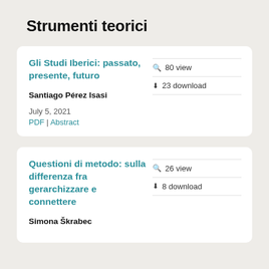Strumenti teorici
Gli Studi Iberici: passato, presente, futuro
80 view
23 download
Santiago Pérez Isasi
July 5, 2021
PDF | Abstract
Questioni di metodo: sulla differenza fra gerarchizzare e connettere
26 view
8 download
Simona Škrabec